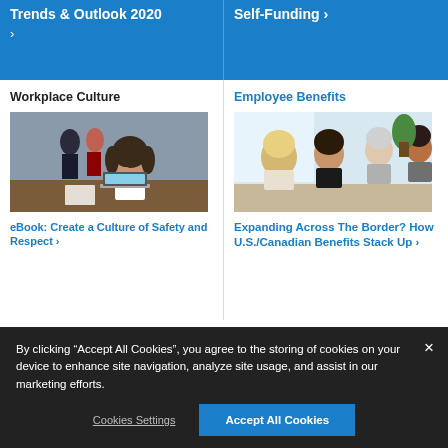Trends & Outlook 2020 ›
Self-Funding ›
Workplace Culture
[Figure (photo): Woman at desk looking stressed, holding glasses, with laptop and papers, people standing in background]
eBook: Create a Culture of Safety and Respect ›
Employee Benefits
[Figure (photo): Group of people in a bright office setting, having a meeting around a table]
Expanding Across The Border? How U.S./Canadian Benefits Stack Up ›
By clicking "Accept All Cookies", you agree to the storing of cookies on your device to enhance site navigation, analyze site usage, and assist in our marketing efforts.
Cookies Settings
Accept All Cookies